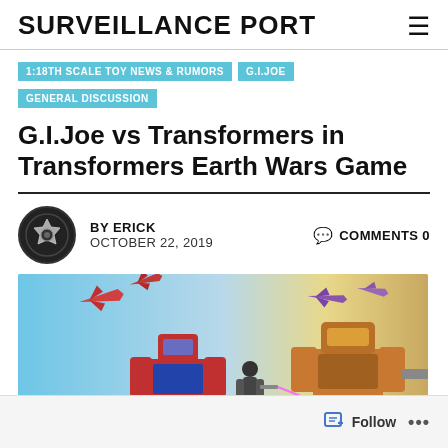SURVEILLANCE PORT
1:18TH SCALE TOY NEWS & RUMORS
G.I.JOE
GENERAL DISCUSSION
G.I.Joe vs Transformers in Transformers Earth Wars Game
BY ERICK   OCTOBER 22, 2019   COMMENTS 0
[Figure (screenshot): Screenshot from Transformers Earth Wars game showing robots and aircraft in battle]
Advertisements
Follow ...